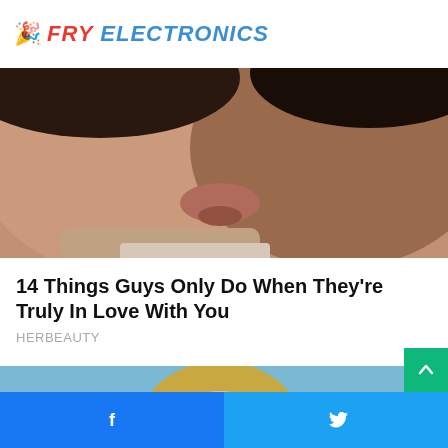FRY ELECTRONICS
[Figure (photo): Close-up photo of a couple about to kiss, faces very close together]
14 Things Guys Only Do When They're Truly In Love With You
HERBEAUTY
[Figure (photo): Photo of a middle-aged blonde woman smiling outdoors in front of a house with tall trees and blue sky]
[Figure (other): Green scroll-to-top button with upward chevron arrow]
Facebook share button | Twitter share button